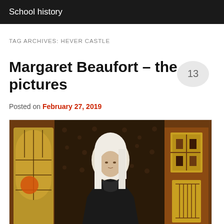School history
TAG ARCHIVES: HEVER CASTLE
Margaret Beaufort – the pictures
Posted on February 27, 2019
[Figure (photo): Medieval portrait painting of Margaret Beaufort wearing white headdress and black dress, with stained glass window on left and heraldic coat of arms on right, set against dark ornate background.]